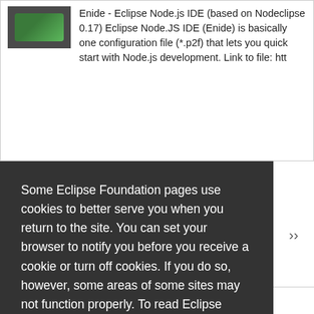Enide - Eclipse Node.js IDE (based on Nodeclipse 0.17) Eclipse Node.JS IDE (Enide) is basically one configuration file (*.p2f) that lets you quick start with Node.js development. Link to file: htt
Some Eclipse Foundation pages use cookies to better serve you when you return to the site. You can set your browser to notify you before you receive a cookie or turn off cookies. If you do so, however, some areas of some sites may not function properly. To read Eclipse Foundation Privacy Policy click here.
Decline
Allow cookies
Eclipse Project (4)